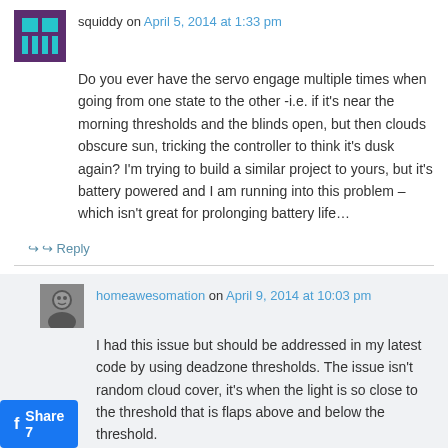squiddy on April 5, 2014 at 1:33 pm
Do you ever have the servo engage multiple times when going from one state to the other -i.e. if it's near the morning thresholds and the blinds open, but then clouds obscure sun, tricking the controller to think it's dusk again? I'm trying to build a similar project to yours, but it's battery powered and I am running into this problem – which isn't great for prolonging battery life…
↪ Reply
homeawesomation on April 9, 2014 at 10:03 pm
I had this issue but should be addressed in my latest code by using deadzone thresholds. The issue isn't random cloud cover, it's when the light is so close to the threshold that is flaps above and below the threshold.
I'd be very interested to see you project, any code you have and do know how you've approached running it off